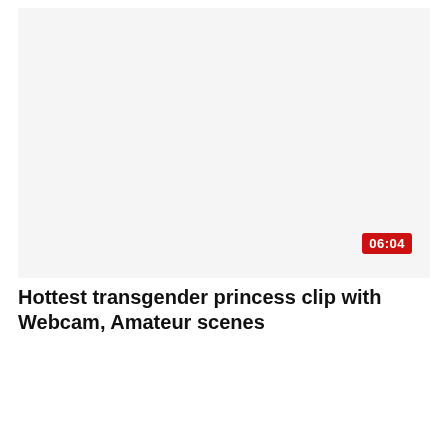[Figure (screenshot): White/blank video thumbnail area with a red duration badge showing '06:04' in the bottom-right corner]
Hottest transgender princess clip with Webcam, Amateur scenes